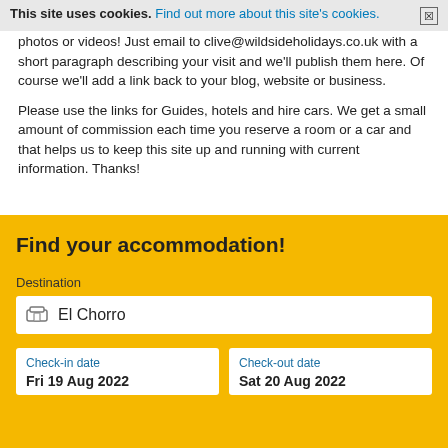This site uses cookies. Find out more about this site's cookies. ✕
photos or videos! Just email to clive@wildsideholidays.co.uk with a short paragraph describing your visit and we'll publish them here. Of course we'll add a link back to your blog, website or business.
Please use the links for Guides, hotels and hire cars. We get a small amount of commission each time you reserve a room or a car and that helps us to keep this site up and running with current information. Thanks!
Find your accommodation!
Destination
El Chorro
Check-in date
Fri 19 Aug 2022
Check-out date
Sat 20 Aug 2022